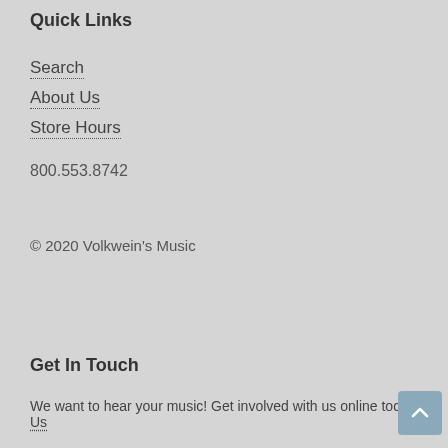Quick Links
Search
About Us
Store Hours
800.553.8742
© 2020 Volkwein's Music
Get In Touch
We want to hear your music! Get involved with us online today Co Us